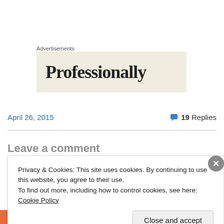Advertisements
[Figure (other): Advertisement banner with text 'Professionally' on a beige/cream background]
April 26, 2015
19 Replies
Privacy & Cookies: This site uses cookies. By continuing to use this website, you agree to their use.
To find out more, including how to control cookies, see here: Cookie Policy
Close and accept